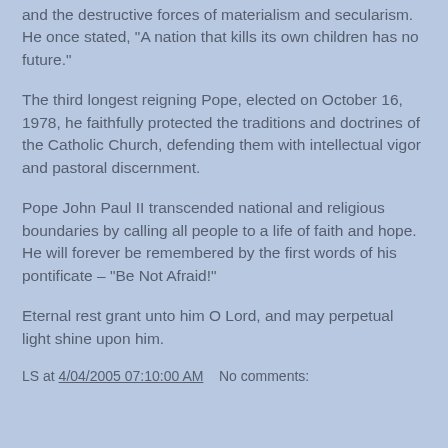and the destructive forces of materialism and secularism. He once stated, “A nation that kills its own children has no future.”
The third longest reigning Pope, elected on October 16, 1978, he faithfully protected the traditions and doctrines of the Catholic Church, defending them with intellectual vigor and pastoral discernment.
Pope John Paul II transcended national and religious boundaries by calling all people to a life of faith and hope. He will forever be remembered by the first words of his pontificate – “Be Not Afraid!”
Eternal rest grant unto him O Lord, and may perpetual light shine upon him.
LS at 4/04/2005 07:10:00 AM   No comments: